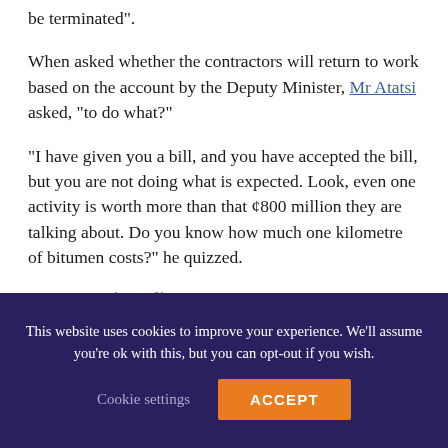action, and if they fail to come, their contracts will be terminated".
When asked whether the contractors will return to work based on the account by the Deputy Minister, Mr Atatsi asked, “to do what?”
“I have given you a bill, and you have accepted the bill, but you are not doing what is expected. Look, even one activity is worth more than that ¢800 million they are talking about. Do you know how much one kilometre of bitumen costs?” he quizzed.
Source: myjoyonline.com
This website uses cookies to improve your experience. We’ll assume you’re ok with this, but you can opt-out if you wish.